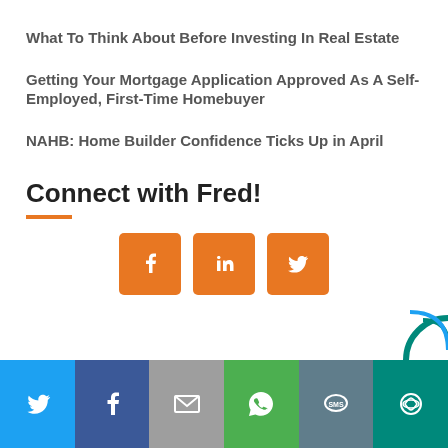What To Think About Before Investing In Real Estate
Getting Your Mortgage Application Approved As A Self-Employed, First-Time Homebuyer
NAHB: Home Builder Confidence Ticks Up in April
Connect with Fred!
[Figure (infographic): Three orange square social media icons: Facebook (f), LinkedIn (in), Twitter (bird)]
[Figure (infographic): Bottom share bar with six colored sections: Twitter (blue), Facebook (dark blue), Email (grey), WhatsApp (green), SMS (blue-grey), Share/More (teal)]